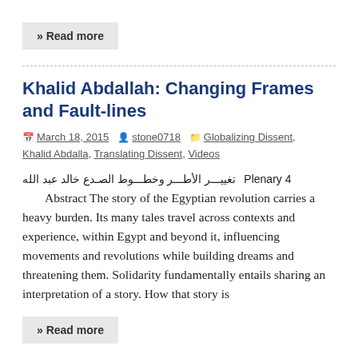» Read more
Khalid Abdallah: Changing Frames and Fault-lines
March 18, 2015  stone0718  Globalizing Dissent, Khalid Abdalla, Translating Dissent, Videos
تغييـــر الأطـــر وخطـــوط الصـدع خالد عبد الله  Plenary 4
Abstract The story of the Egyptian revolution carries a heavy burden. Its many tales travel across contexts and experience, within Egypt and beyond it, influencing movements and revolutions while building dreams and threatening them. Solidarity fundamentally entails sharing an interpretation of a story. How that story is
» Read more